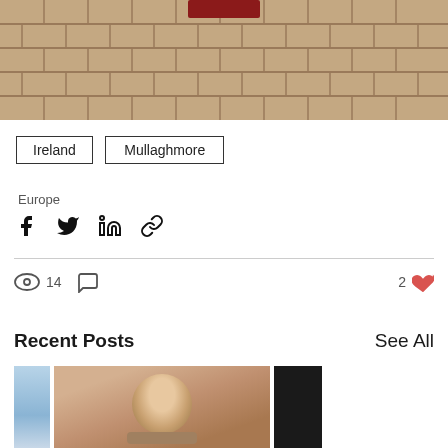[Figure (photo): Brick paver ground with a red door at the top, stone wall visible behind]
Ireland
Mullaghmore
Europe
[Figure (infographic): Share icons: Facebook, Twitter, LinkedIn, link/chain]
14 views, comment icon, 2 likes
Recent Posts
See All
[Figure (photo): Three thumbnail images of recent posts: left is blue/snowy, center is a bearded man smiling, right is dark/black image]